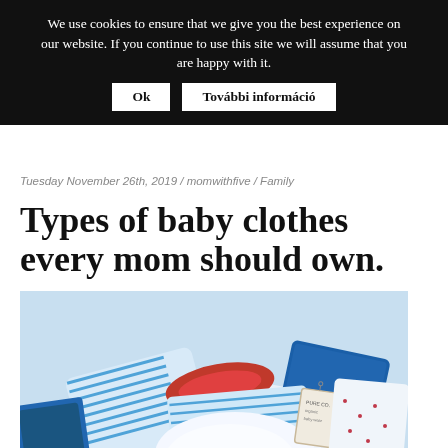We use cookies to ensure that we give you the best experience on our website. If you continue to use this site we will assume that you are happy with it.
Ok | További információ
Tuesday November 26th, 2019 / momwithfive / Family
Types of baby clothes every mom should own.
[Figure (photo): A pile of folded baby clothes including blue and white striped onesies, a red-collared garment, dark blue pieces, white items, and various patterned baby clothing with a hang tag visible.]